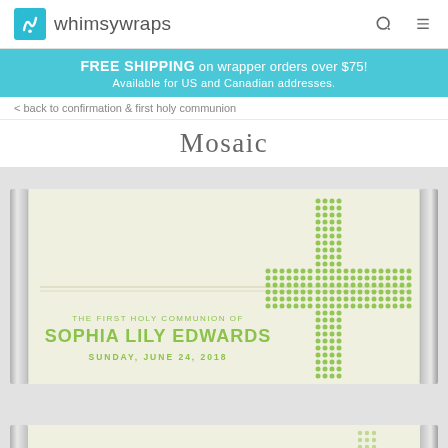whimsywraps
FREE SHIPPING on wrapper orders over $75! Available for US and Canadian addresses.
< back to confirmation & first holy communion
Mosaic
[Figure (illustration): A personalized chocolate bar wrapper with cream/ivory background featuring a mosaic dot cross design in green on the right side. Text reads: THE FIRST HOLY COMMUNION OF, SOPHIA LILY EDWARDS, SUNDAY, JUNE 24, 2018. A partial second wrapper is visible at the bottom.]